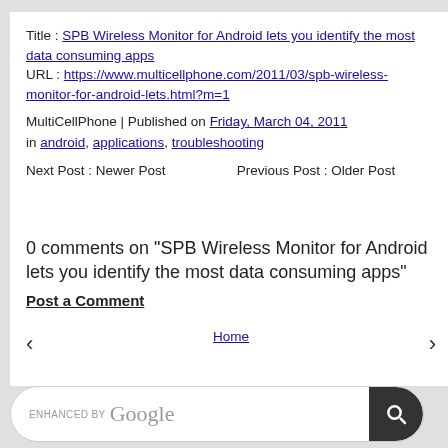Title : SPB Wireless Monitor for Android lets you identify the most data consuming apps
URL : https://www.multicellphone.com/2011/03/spb-wireless-monitor-for-android-lets.html?m=1
MultiCellPhone | Published on Friday, March 04, 2011 in android, applications, troubleshooting
Next Post : Newer Post        Previous Post : Older Post
0 comments on "SPB Wireless Monitor for Android lets you identify the most data consuming apps"
Post a Comment
Home
ENHANCED BY Google